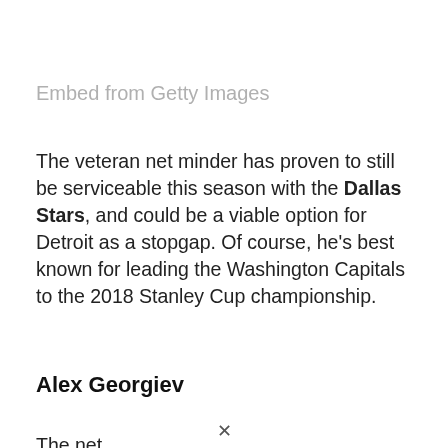Embed from Getty Images
The veteran net minder has proven to still be serviceable this season with the Dallas Stars, and could be a viable option for Detroit as a stopgap. Of course, he’s best known for leading the Washington Capitals to the 2018 Stanley Cup championship.
Alex Georgiev
The net...